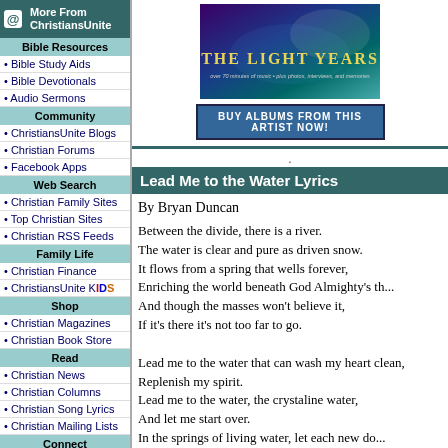[Figure (illustration): Album cover for The Light Years - dark teal/purple background with text overlay]
BUY ALBUMS FROM THIS ARTIST NOW!
Lead Me to the Water Lyrics
By Bryan Duncan
Between the divide, there is a river.
The water is clear and pure as driven snow.
It flows from a spring that wells forever,
Enriching the world beneath God Almighty's th...
And though the masses won't believe it,
If it's there it's not too far to go.

Lead me to the water that can wash my heart clean,
Replenish my spirit.
Lead me to the water, the crystaline water,
And let me start over.
In the springs of living water, let each new do...
More From ChristiansUnite
Bible Resources
Bible Study Aids
Bible Devotionals
Audio Sermons
Community
ChristiansUnite Blogs
Christian Forums
Facebook Apps
Web Search
Christian Family Sites
Top Christian Sites
Christian RSS Feeds
Family Life
Christian Finance
ChristiansUnite KIDS
Shop
Christian Magazines
Christian Book Store
Read
Christian News
Christian Columns
Christian Song Lyrics
Christian Mailing Lists
Connect
Christian Singles
Christian Classifieds
Graphics
Free Christian Clipart
Christian Wallpaper
Fun Stuff
Clean Christian Jokes